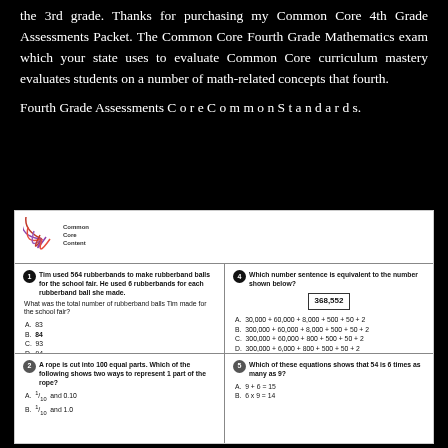the 3rd grade. Thanks for purchasing my Common Core 4th Grade Assessments Packet. The Common Core Fourth Grade Mathematics exam which your state uses to evaluate Common Core curriculum mastery evaluates students on a number of math-related concepts that fourth.
Fourth Grade Assessments C o r e C o m m o n S t a n d a r d s.
[Figure (other): Common Core Content logo with fan/shell graphic in red and purple]
1. Tim used 564 rubberbands to make rubberband balls for the school fair. He used 6 rubberbands for each rubberband ball she made. What was the total number of rubberband balls Tim made for the school fair? A. 83  B. 84  C. 93  D. 94
4. Which number sentence is equivalent to the number shown below? 368,552  A. 30,000 + 60,000 + 8,000 + 500 + 50 + 2  B. 300,000 + 60,000 + 8,000 + 500 + 50 + 2  C. 300,000 + 60,000 + 800 + 500 + 50 + 2  D. 300,000 + 6,000 + 800 + 500 + 50 + 2
2. A rope is cut into 100 equal parts. Which of the following shows two ways to represent 1 part of the rope? A. 1/10 and 0.10  B. 1/10 and 1.0
5. Which of these equations shows that 54 is 6 times as many as 9? A. 9 + 6 = 15  B. 6 x 9 = 14